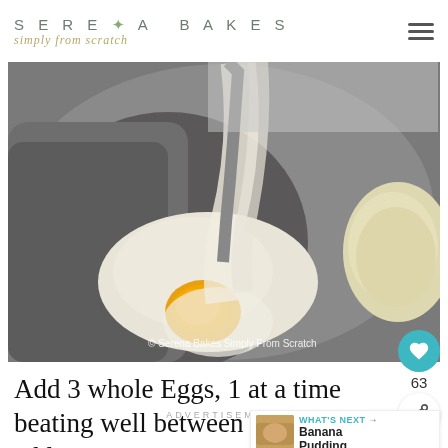SERENA BAKES simply from scratch
[Figure (photo): Close-up photo of eggs being added to a stand mixer bowl with butter, showing egg yolk and white batter. Watermark reads: © Serena Bakes Simply From Scratch]
Add 3 whole Eggs, 1 at a time beating well between each addition.
ADVERTISEMENT
WHAT'S NEXT → Banana Pudding...